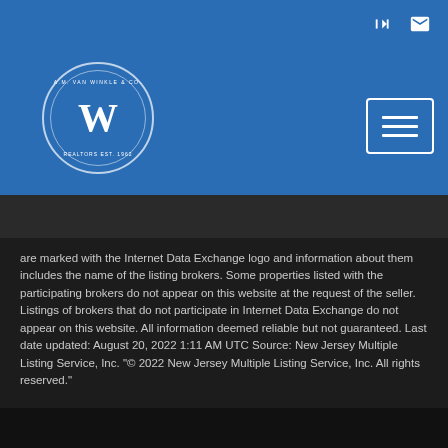[Figure (logo): A.M. Van Winkle & Co. circular logo with stylized W, white on blue background]
are marked with the Internet Data Exchange logo and information about them includes the name of the listing brokers. Some properties listed with the participating brokers do not appear on this website at the request of the seller. Listings of brokers that do not participate in Internet Data Exchange do not appear on this website. All information deemed reliable but not guaranteed. Last date updated: August 20, 2022 1:11 AM UTC Source: New Jersey Multiple Listing Service, Inc. "© 2022 New Jersey Multiple Listing Service, Inc. All rights reserved."